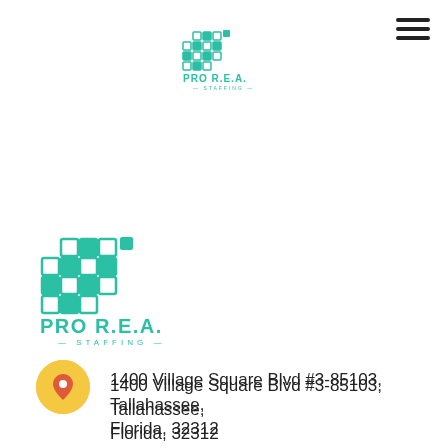[Figure (logo): PRO R.E.A. STAFFING logo small at top center]
[Figure (logo): PRO R.E.A. STAFFING logo large at left]
1400 Village Square Blvd #3-85103, Tallahassee, Florida, 32312
info@proreastaffing.com
(800) 353-5644 EXT 102